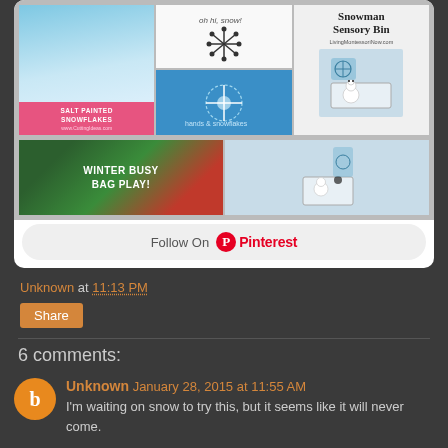[Figure (screenshot): Pinterest board image grid showing winter/snow themed activities: salt painted snowflakes, snow sketch, snowflake with hands, winter busy bag play, snowman sensory bin, and sensory bin with child. Followed by a Follow On Pinterest button.]
Unknown at 11:13 PM
Share
6 comments:
Unknown January 28, 2015 at 11:55 AM
I'm waiting on snow to try this, but it seems like it will never come.